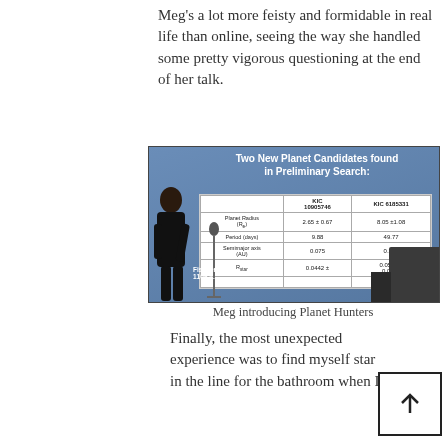Meg's a lot more feisty and formidable in real life than online, seeing the way she handled some pretty vigorous questioning at the end of her talk.
[Figure (photo): Photo of a presenter (Meg) standing at a podium in front of a projected slide titled 'Two New Planet Candidates found in Preliminary Search:' showing a table with data for KIC 10905746 and KIC 6185331 including Planet Radius, Period (days), Semimajor axis (AU), and other parameters. Label 'Fischer' and '1109' visible at bottom.]
Meg introducing Planet Hunters
Finally, the most unexpected experience was to find myself star in the line for the bathroom when I